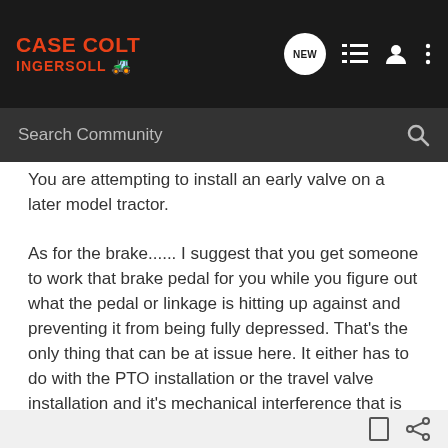Case Colt Ingersoll — Navigation bar with NEW, list, user, and more icons
Search Community
You are attempting to install an early valve on a later model tractor.
As for the brake...... I suggest that you get someone to work that brake pedal for you while you figure out what the pedal or linkage is hitting up against and preventing it from being fully depressed. That's the only thing that can be at issue here. It either has to do with the PTO installation or the travel valve installation and it's mechanical interference that is causing the problem.